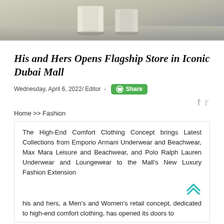[Figure (photo): Top portion of a store interior photo showing display furniture/pedestals in a light-colored retail space]
His and Hers Opens Flagship Store in Iconic Dubai Mall
Wednesday, April 6, 2022/ Editor -
Home >> Fashion
The High-End Comfort Clothing Concept brings Latest Collections from Emporio Armani Underwear and Beachwear, Max Mara Leisure and Beachwear, and Polo Ralph Lauren Underwear and Loungewear to the Mall's New Luxury Fashion Extension
his and hers, a Men's and Women's retail concept, dedicated to high-end comfort clothing, has opened its doors to